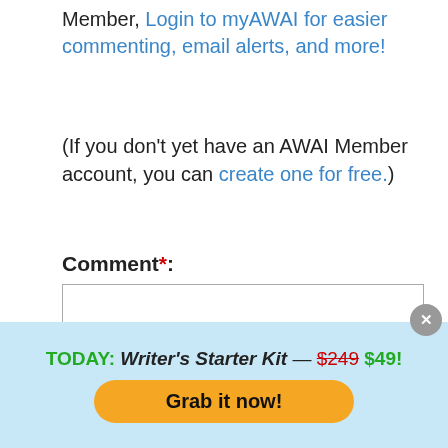Member, Login to myAWAI for easier commenting, email alerts, and more!
(If you don't yet have an AWAI Member account, you can create one for free.)
Comment*:
[Figure (screenshot): Empty comment textarea input box with resize handle]
Submit Comment  (*all fields required)
TODAY: Writer's Starter Kit — $249 $49!
Grab it now!